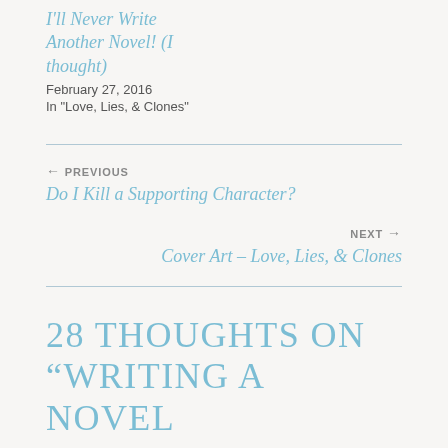I'll Never Write Another Novel! (I thought)
February 27, 2016
In "Love, Lies, & Clones"
← PREVIOUS
Do I Kill a Supporting Character?
NEXT →
Cover Art – Love, Lies, & Clones
28 THOUGHTS ON "WRITING A NOVEL